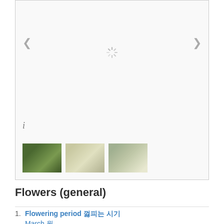[Figure (photo): Image gallery box with navigation arrows, a loading spinner icon, an info icon, and three flower thumbnails at the bottom]
Flowers (general)
1. Flowering period 꽃피는 시기
   March 3월
April 4월
2. Perianth cycly 화피의 윤생
   Biseriate        /
3. Major Color 주요 색상
   White 흰